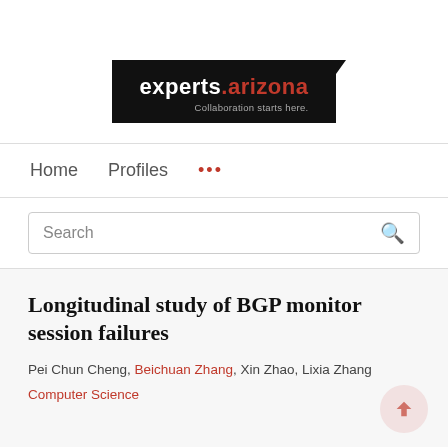[Figure (logo): experts.arizona logo — black background box with white text 'experts.' and red '.arizona', tagline 'Collaboration starts here.']
Home   Profiles   ...
Search
Longitudinal study of BGP monitor session failures
Pei Chun Cheng, Beichuan Zhang, Xin Zhao, Lixia Zhang
Computer Science